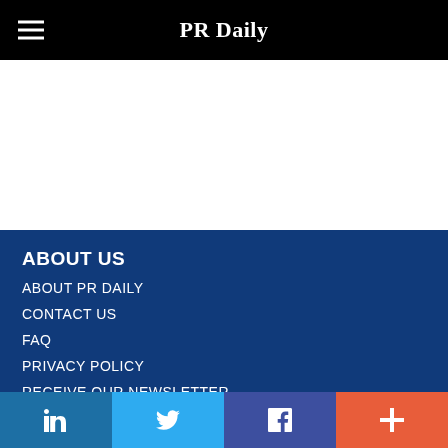PR Daily
ABOUT US
ABOUT PR DAILY
CONTACT US
FAQ
PRIVACY POLICY
RECEIVE OUR NEWSLETTER
in  [Twitter bird]  f  +